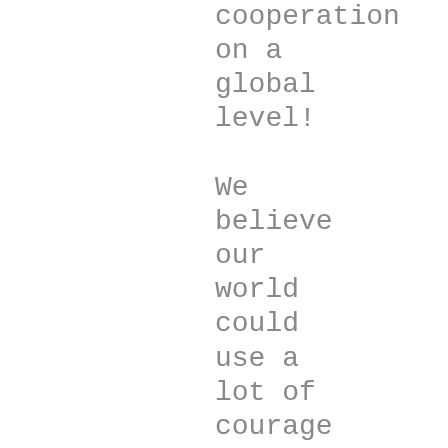cooperation
on a
global
level!

We
believe
our
world
could
use a
lot of
courage
right
now
– at
home